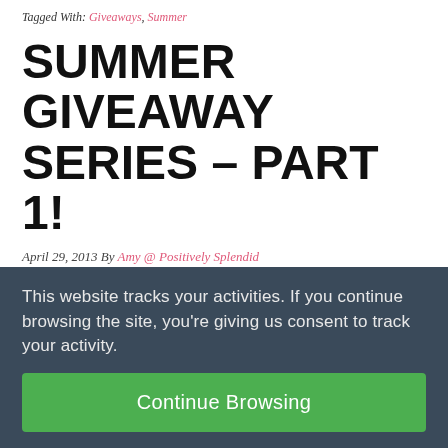Tagged With: Giveaways, Summer
SUMMER GIVEAWAY SERIES – PART 1!
April 29, 2013 By Amy @ Positively Splendid
[Figure (illustration): Blog post promotional image showing an orange starburst/sun shape on the left and cursive/hand-lettered text reading 'capture and make summer' on the right, with 'summer' partially cut off at the bottom in teal/turquoise letters.]
This website tracks your activities. If you continue browsing the site, you're giving us consent to track your activity.
Continue Browsing